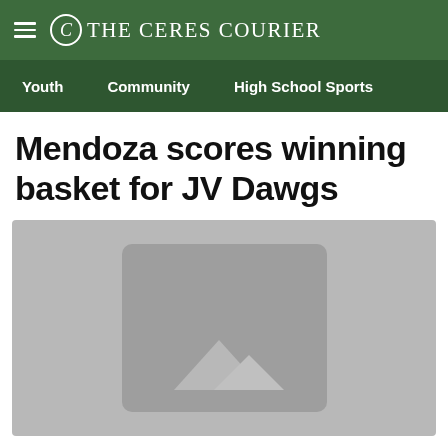The Ceres Courier
Youth   Community   High School Sports
Mendoza scores winning basket for JV Dawgs
[Figure (photo): Placeholder image with mountain/landscape icon on grey background]